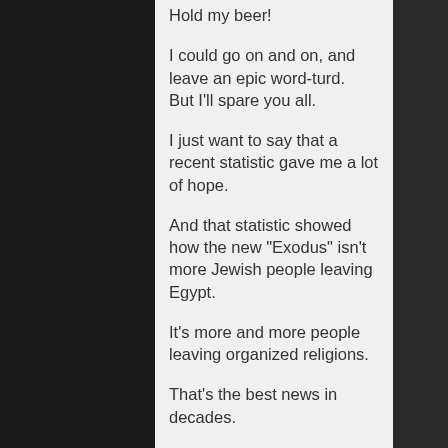Hold my beer!
I could go on and on, and leave an epic word-turd.  But I'll spare you all.
I just want to say that a recent statistic gave me a lot of hope.
And that statistic showed how the new "Exodus" isn't more Jewish people leaving Egypt.
It's more and more people leaving organized religions.
That's the best news in decades.
If we want humankind to survive, killing